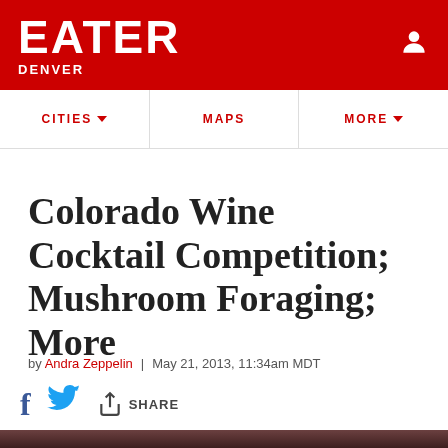EATER DENVER
CITIES ▼  |  MAPS  |  MORE ▼
Colorado Wine Cocktail Competition; Mushroom Foraging; More
by Andra Zeppelin | May 21, 2013, 11:34am MDT
SHARE
[Figure (photo): Interior of a restaurant or bar with brick walls and warm lighting]